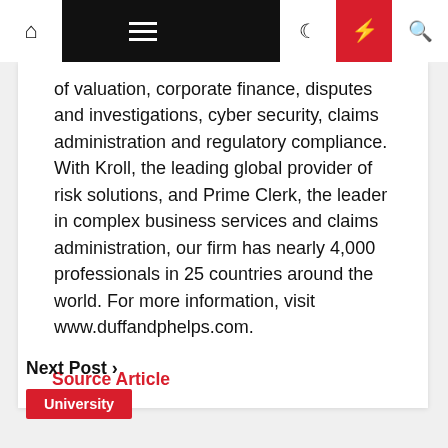Navigation bar with home, menu, dark mode, lightning, and search icons
of valuation, corporate finance, disputes and investigations, cyber security, claims administration and regulatory compliance. With Kroll, the leading global provider of risk solutions, and Prime Clerk, the leader in complex business services and claims administration, our firm has nearly 4,000 professionals in 25 countries around the world. For more information, visit www.duffandphelps.com.
Source Article
Next Post ›
University